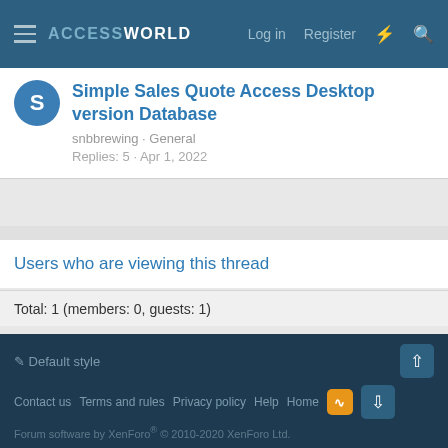ACCESSWORLD  Log in  Register
Simple Sales Quote Access Desktop version Database
snbbrewing · General
Replies: 5 · Apr 1, 2022
Users who are viewing this thread
Total: 1 (members: 0, guests: 1)
Share:
< General
Default style  Contact us  Terms and rules  Privacy policy  Help  Home  Forum software by XenForo® © 2010-2020 XenForo Ltd.